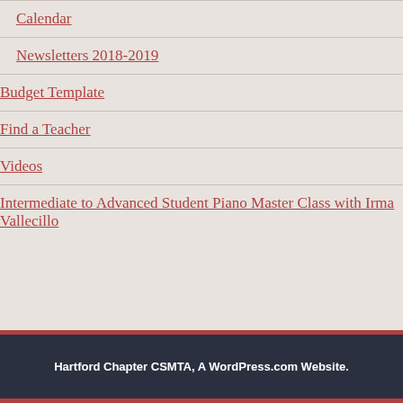Calendar
Newsletters 2018-2019
Budget Template
Find a Teacher
Videos
Intermediate to Advanced Student Piano Master Class with Irma Vallecillo
Hartford Chapter CSMTA, A WordPress.com Website.